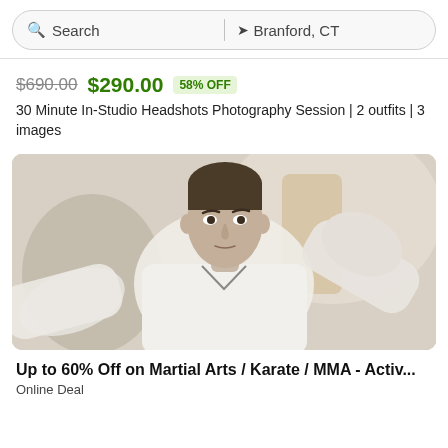[Figure (screenshot): Search bar with magnifier icon showing 'Search' and location pin showing 'Branford, CT']
$690.00 $290.00 58% OFF
30 Minute In-Studio Headshots Photography Session | 2 outfits | 3 images
[Figure (photo): Man in white martial arts gi performing a karate blocking technique, looking directly at camera with serious expression]
Up to 60% Off on Martial Arts / Karate / MMA - Activ...
Online Deal